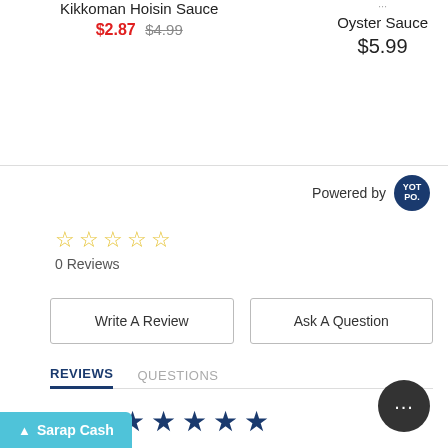Kikkoman Hoisin Sauce
$2.87 $4.99
Oyster Sauce
$5.99
Powered by YOTPO
[Figure (other): Five empty star rating icons in gold/yellow]
0 Reviews
Write A Review
Ask A Question
REVIEWS   QUESTIONS
[Figure (other): Five filled dark blue star icons]
Sarap Cash